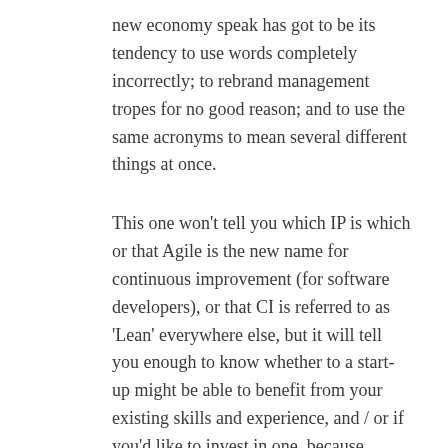new economy speak has got to be its tendency to use words completely incorrectly; to rebrand management tropes for no good reason; and to use the same acronyms to mean several different things at once.
This one won't tell you which IP is which or that Agile is the new name for continuous improvement (for software developers), or that CI is referred to as 'Lean' everywhere else, but it will tell you enough to know whether to a start-up might be able to benefit from your existing skills and experience, and / or if you'd like to invest in one, because you're able to judge its potential on your own terms.